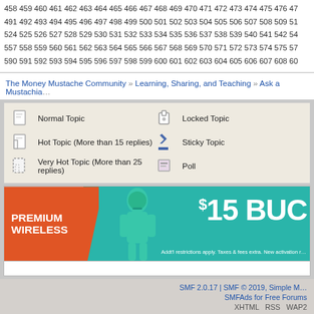458 459 460 461 462 463 464 465 466 467 468 469 470 471 472 473 474 475 476 477 491 492 493 494 495 496 497 498 499 500 501 502 503 504 505 506 507 508 509 510 524 525 526 527 528 529 530 531 532 533 534 535 536 537 538 539 540 541 542 543 557 558 559 560 561 562 563 564 565 566 567 568 569 570 571 572 573 574 575 576 590 591 592 593 594 595 596 597 598 599 600 601 602 603 604 605 606 607 608 609
The Money Mustache Community » Learning, Sharing, and Teaching » Ask a Mustachia…
Normal Topic
Hot Topic (More than 15 replies)
Very Hot Topic (More than 25 replies)
Locked Topic
Sticky Topic
Poll
[Figure (infographic): Advertisement banner: 'PREMIUM WIRELESS' on orange background with teal background showing '$15 BUC...' and fine print 'Addt'l restrictions apply. Taxes & fees extra. New activation r...']
SMF 2.0.17 | SMF © 2019, Simple M... | SMFAds for Free Forums | XHTML RSS WAP2